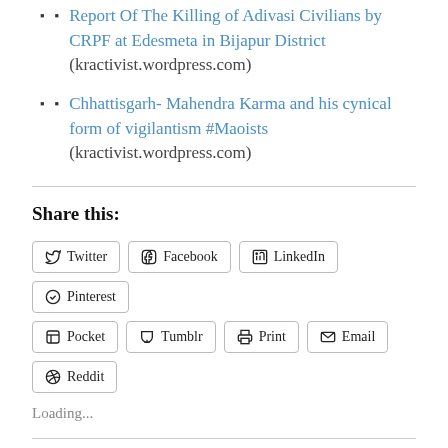Report Of The Killing of Adivasi Civilians by CRPF at Edesmeta in Bijapur District (kractivist.wordpress.com)
Chhattisgarh- Mahendra Karma and his cynical form of vigilantism #Maoists (kractivist.wordpress.com)
Share this:
Twitter Facebook LinkedIn Pinterest Pocket Tumblr Print Email Reddit
Loading...
Related